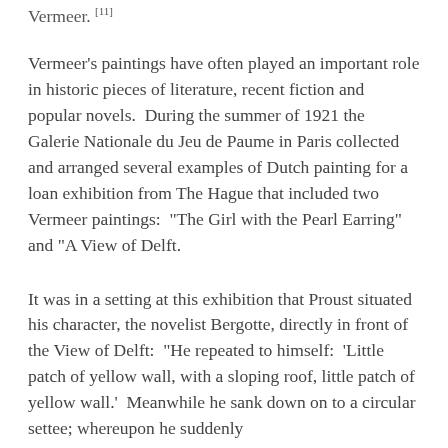Vermeer. [11]
Vermeer's paintings have often played an important role in historic pieces of literature, recent fiction and popular novels.  During the summer of 1921 the Galerie Nationale du Jeu de Paume in Paris collected and arranged several examples of Dutch painting for a loan exhibition from The Hague that included two Vermeer paintings:  "The Girl with the Pearl Earring" and "A View of Delft.
It was in a setting at this exhibition that Proust situated his character, the novelist Bergotte, directly in front of the View of Delft:  "He repeated to himself:  'Little patch of yellow wall, with a sloping roof, little patch of yellow wall.'  Meanwhile he sank down on to a circular settee; whereupon he suddenly